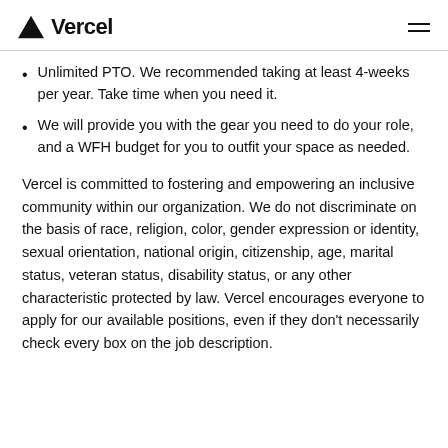Vercel
Unlimited PTO. We recommended taking at least 4-weeks per year. Take time when you need it.
We will provide you with the gear you need to do your role, and a WFH budget for you to outfit your space as needed.
Vercel is committed to fostering and empowering an inclusive community within our organization. We do not discriminate on the basis of race, religion, color, gender expression or identity, sexual orientation, national origin, citizenship, age, marital status, veteran status, disability status, or any other characteristic protected by law. Vercel encourages everyone to apply for our available positions, even if they don't necessarily check every box on the job description.